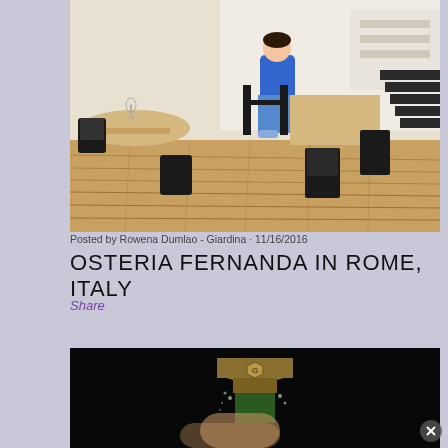[Figure (photo): Interior of Osteria Fernanda restaurant in Rome, showing a man in blue shirt seated at a wooden table, black chairs, wooden floor, and stairs in background]
Posted by Rowena Dumlao - Giardina · 11/16/2016
OSTERIA FERNANDA IN ROME, ITALY
Share
[Figure (photo): Close-up dark photo of a bottle being opened or poured, with bubbles/liquid visible, dark background]